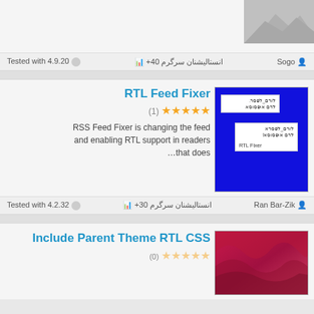[Figure (screenshot): Partial top card with grey image thumbnail on right]
Sogo
Tested with 4.9.20
+40 سرگرم انستالیشنان
RTL Feed Fixer
(1) ★★★★★
RSS Feed Fixer is changing the feed and enabling RTL support in readers that does...
[Figure (screenshot): RTL Feed Fixer plugin image with blue background showing Hebrew/Arabic text blocks and RTL Fixer label]
Ran Bar-Zik
Tested with 4.2.32
+30 سرگرم انستالیشنان
Include Parent Theme RTL CSS
[Figure (screenshot): Partial red/magenta wavy gradient image]